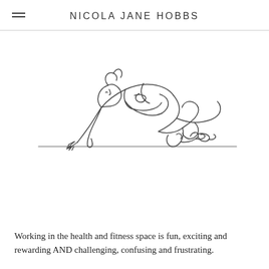NICOLA JANE HOBBS
[Figure (illustration): Line drawing illustration of a person in a plank/push-up position, drawn in a continuous single-line art style. The figure is in athletic wear and positioned low to the ground with arms extended.]
Working in the health and fitness space is fun, exciting and rewarding AND challenging, confusing and frustrating.